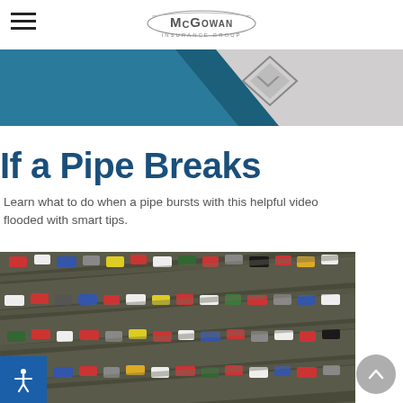McGowan Insurance Group
[Figure (illustration): Decorative banner with teal/blue diagonal shape and diamond logo graphic on gray background]
If a Pipe Breaks
Learn what to do when a pipe bursts with this helpful video flooded with smart tips.
[Figure (photo): Aerial view of a large parking lot filled with many colorful cars arranged in diagonal rows]